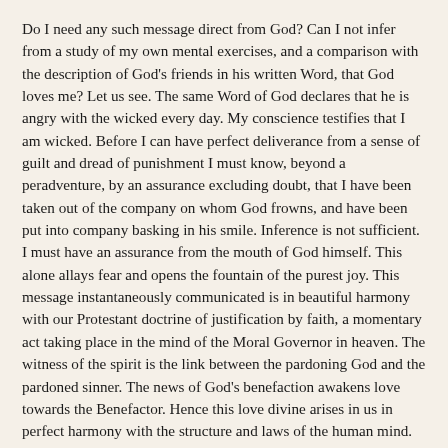Do I need any such message direct from God? Can I not infer from a study of my own mental exercises, and a comparison with the description of God's friends in his written Word, that God loves me? Let us see. The same Word of God declares that he is angry with the wicked every day. My conscience testifies that I am wicked. Before I can have perfect deliverance from a sense of guilt and dread of punishment I must know, beyond a peradventure, by an assurance excluding doubt, that I have been taken out of the company on whom God frowns, and have been put into company basking in his smile. Inference is not sufficient. I must have an assurance from the mouth of God himself. This alone allays fear and opens the fountain of the purest joy. This message instantaneously communicated is in beautiful harmony with our Protestant doctrine of justification by faith, a momentary act taking place in the mind of the Moral Governor in heaven. The witness of the spirit is the link between the pardoning God and the pardoned sinner. The news of God's benefaction awakens love towards the Benefactor. Hence this love divine arises in us in perfect harmony with the structure and laws of the human mind. Love is the essence of Christianity and its central power which is moving it through the world, and which will ultimately draw all nations to God: